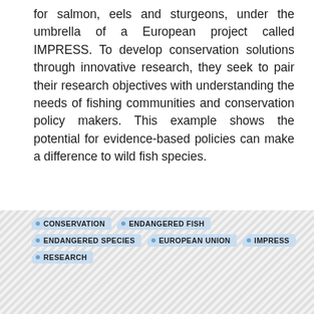for salmon, eels and sturgeons, under the umbrella of a European project called IMPRESS. To develop conservation solutions through innovative research, they seek to pair their research objectives with understanding the needs of fishing communities and conservation policy makers. This example shows the potential for evidence-based policies can make a difference to wild fish species.
CONSERVATION
ENDANGERED FISH
ENDANGERED SPECIES
EUROPEAN UNION
IMPRESS
RESEARCH